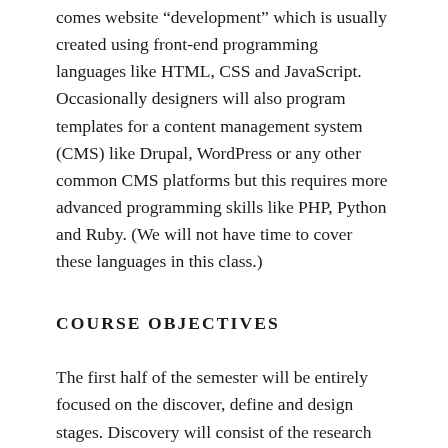comes website “development” which is usually created using front-end programming languages like HTML, CSS and JavaScript. Occasionally designers will also program templates for a content management system (CMS) like Drupal, WordPress or any other common CMS platforms but this requires more advanced programming skills like PHP, Python and Ruby. (We will not have time to cover these languages in this class.)
COURSE OBJECTIVES
The first half of the semester will be entirely focused on the discover, define and design stages. Discovery will consist of the research need to determine who we are designing the website for, what are our competitors already in the space, how can we differentiate from those competitors. Define